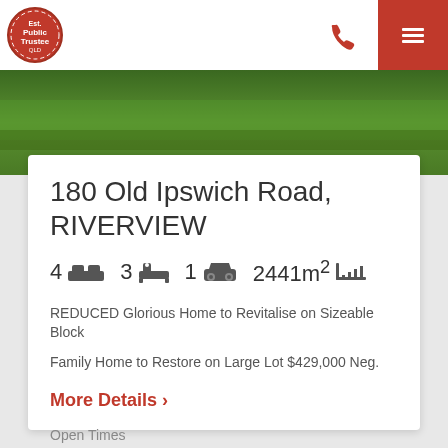[Figure (logo): Public Trustee circular red wax seal logo]
[Figure (photo): Green grass lawn photo strip at top of property listing]
180 Old Ipswich Road, RIVERVIEW
4 beds  3 baths  1 garage  2441m²
REDUCED Glorious Home to Revitalise on Sizeable Block
Family Home to Restore on Large Lot $429,000 Neg.
More Details >
Open Times
Thu. September 01, 2022 09:00am - 09:30am